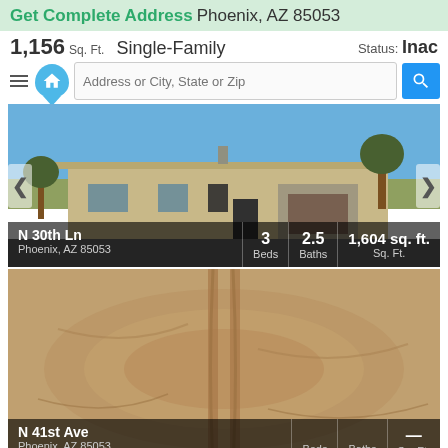Get Complete Address Phoenix, AZ 85053
1,156 Sq. Ft.  Single-Family  Status: Inactive
[Figure (screenshot): Exterior photo of a single-story ranch-style house in Phoenix, AZ with blue sky background. Overlay shows: N 30th Ln, Phoenix, AZ 85053, 3 Beds, 2.5 Baths, 1,604 sq. ft.]
[Figure (photo): Aerial/overhead view of a vacant dirt lot in Phoenix, AZ 85053. Overlay shows: N 41st Ave, Phoenix, AZ 85053, Beds, Baths, — Sq. Ft.]
Phoenix Foreclosures
Phoenix Rent To Own